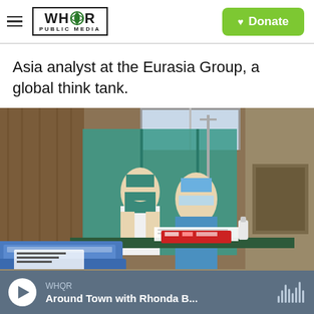WHQR PUBLIC MEDIA | Donate
Asia analyst at the Eurasia Group, a global think tank.
[Figure (photo): Two healthcare workers in surgical masks and scrubs sitting at a desk in a medical facility, with vaccine cooler boxes and medical supplies in the foreground and green privacy screens in the background.]
WHQR | Around Town with Rhonda B...